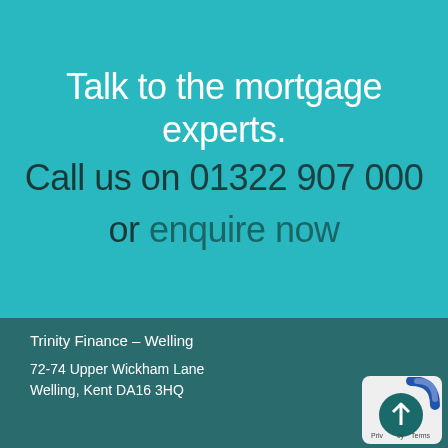Talk to the mortgage experts.
Call us on 01322 907 000
or enquire now
Trinity Finance – Welling
72-74 Upper Wickham Lane
Welling, Kent DA16 3HQ
[Figure (logo): Circular dark teal badge with white upward arrow, labeled 'Privacy Terms']